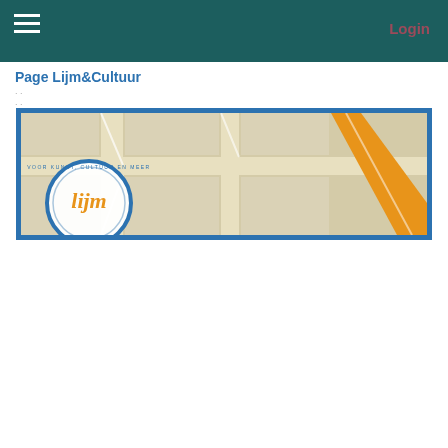☰  Login
Page Lijm&Cultuur
[Figure (map): Banner image showing a stylized map background with road lines and an orange diagonal road/stripe. On the left side there is a circular logo with the text 'lijm' in orange script inside, with a blue circular border and small text around the perimeter.]